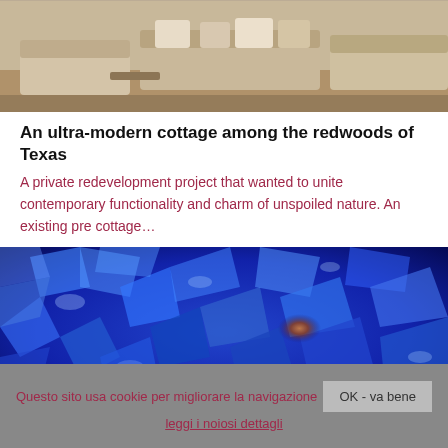[Figure (photo): Top portion of a living room interior photo, partially cropped, showing sofas and cushions in muted tones]
An ultra-modern cottage among the redwoods of Texas
A private redevelopment project that wanted to unite contemporary functionality and charm of unspoiled nature. An existing pre cottage…
[Figure (photo): Close-up abstract photo of blue glassy or crystalline material with a warm reddish glow in the center]
Questo sito usa cookie per migliorare la navigazione
OK - va bene
leggi i noiosi dettagli